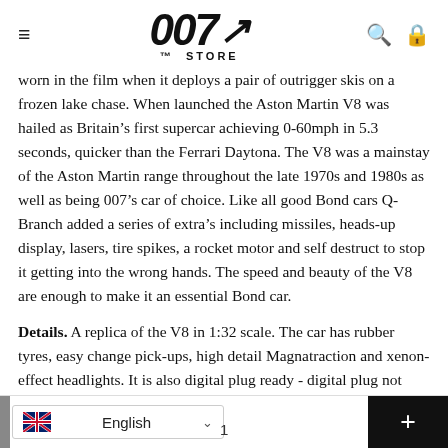007 STORE
worn in the film when it deploys a pair of outrigger skis on a frozen lake chase. When launched the Aston Martin V8 was hailed as Britain's first supercar achieving 0-60mph in 5.3 seconds, quicker than the Ferrari Daytona. The V8 was a mainstay of the Aston Martin range throughout the late 1970s and 1980s as well as being 007's car of choice. Like all good Bond cars Q-Branch added a series of extra's including missiles, heads-up display, lasers, tire spikes, a rocket motor and self destruct to stop it getting into the wrong hands. The speed and beauty of the V8 are enough to make it an essential Bond car.
Details. A replica of the V8 in 1:32 scale. The car has rubber tyres, easy change pick-ups, high detail Magnatraction and xenon-effect headlights. It is also digital plug ready - digital plug not included. Suitable for ages 5+.
English